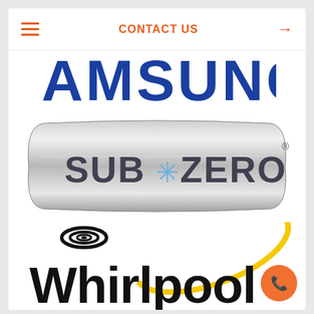≡  CONTACT US  →
[Figure (logo): Samsung logo in blue on white background, partially cropped at top]
[Figure (logo): Sub-Zero logo on a brushed metallic silver badge with snowflake asterisk between words, registered trademark symbol]
[Figure (logo): Whirlpool logo in black with spiral swirl graphic on top and yellow orbit ellipse behind the text]
[Figure (other): Orange circular phone/call button in bottom right corner]